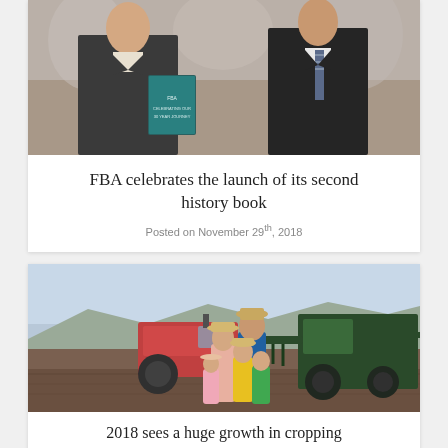[Figure (photo): Two men in suits standing together, one holding a book titled 'Celebrating Our 30 Year Journey']
FBA celebrates the launch of its second history book
Posted on November 29th, 2018
[Figure (photo): A farming family with children standing in front of agricultural machinery including a red tractor and a large green sprayer in a field]
2018 sees a huge growth in cropping